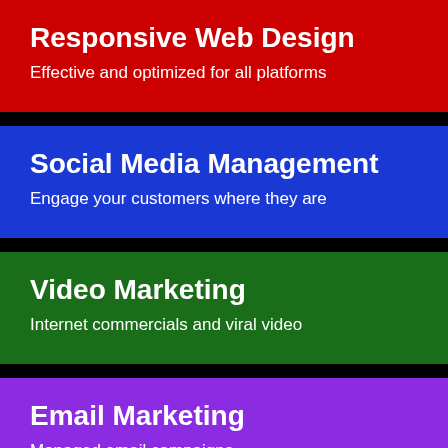Responsive Web Design
Effective and optimized for all platforms
Social Media Management
Engage your customers where they are
Video Marketing
Internet commercials and viral video
Email Marketing
Managed email campaigns